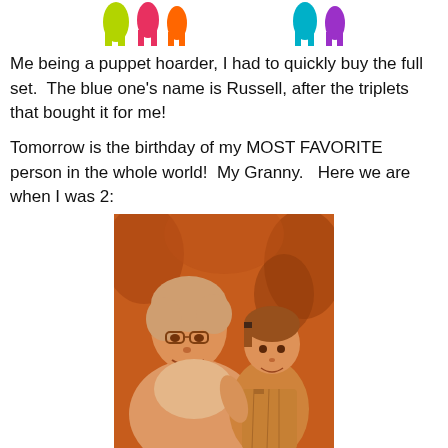[Figure (illustration): Top portion of colorful finger puppets in two groups — left group has yellow-green, red/pink, orange; right group has teal/blue and purple/violet]
Me being a puppet hoarder, I had to quickly buy the full set.  The blue one's name is Russell, after the triplets that bought it for me!
Tomorrow is the birthday of my MOST FAVORITE person in the whole world!  My Granny.   Here we are when I was 2:
[Figure (photo): Sepia-toned vintage photograph of an older woman (Granny) with glasses holding a young child approximately 2 years old, outdoors with trees in background]